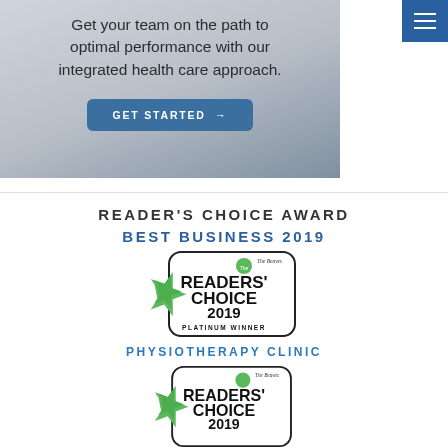[Figure (screenshot): Hero image with text overlay: 'Get your team on the path to optimal performance with our integrated health care approach.' and a blue GET STARTED button]
[Figure (logo): Hamburger menu icon (three horizontal lines) in a dark blue square, top right corner]
READER'S CHOICE AWARD
BEST BUSINESS 2019
[Figure (logo): The Beaver Readers' Choice 2019 Platinum Winner badge with green star]
PHYSIOTHERAPY CLINIC
[Figure (logo): The Beaver Readers' Choice 2019 badge with green star (partially visible)]